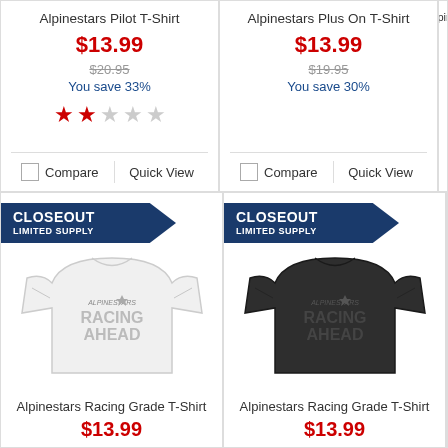Alpinestars Pilot T-Shirt
$13.99
$20.95
You save 33%
★★☆☆☆
Compare | Quick View
Alpinestars Plus On T-Shirt
$13.99
$19.95
You save 30%
Compare | Quick View
CLOSEOUT LIMITED SUPPLY
[Figure (photo): White Alpinestars Racing Ahead T-Shirt]
Alpinestars Racing Grade T-Shirt
$13.99
CLOSEOUT LIMITED SUPPLY
[Figure (photo): Black Alpinestars Racing Ahead T-Shirt]
Alpinestars Racing Grade T-Shirt
$13.99
CLOSEOUT LIMITED SUPPLY (partial)